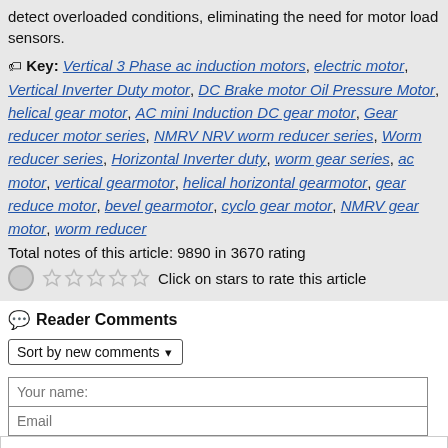detect overloaded conditions, eliminating the need for motor load sensors.
Key: Vertical 3 Phase ac induction motors, electric motor, Vertical Inverter Duty motor, DC Brake motor Oil Pressure Motor, helical gear motor, AC mini Induction DC gear motor, Gear reducer motor series, NMRV NRV worm reducer series, Worm reducer series, Horizontal Inverter duty, worm gear series, ac motor, vertical gearmotor, helical horizontal gearmotor, gear reduce motor, bevel gearmotor, cyclo gear motor, NMRV gear motor, worm reducer
Total notes of this article: 9890 in 3670 rating
Click on stars to rate this article
Reader Comments
Sort by new comments
Your name:
Email
[Figure (illustration): Phone call button icon: red circle with white phone handset icon, surrounded by a lighter pink/red outer ring]
Security code